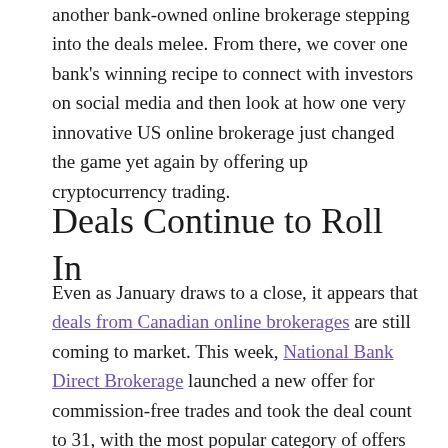another bank-owned online brokerage stepping into the deals melee. From there, we cover one bank's winning recipe to connect with investors on social media and then look at how one very innovative US online brokerage just changed the game yet again by offering up cryptocurrency trading.
Deals Continue to Roll In
Even as January draws to a close, it appears that deals from Canadian online brokerages are still coming to market. This week, National Bank Direct Brokerage launched a new offer for commission-free trades and took the deal count to 31, with the most popular category of offers now solidly in the cash back or commission-free